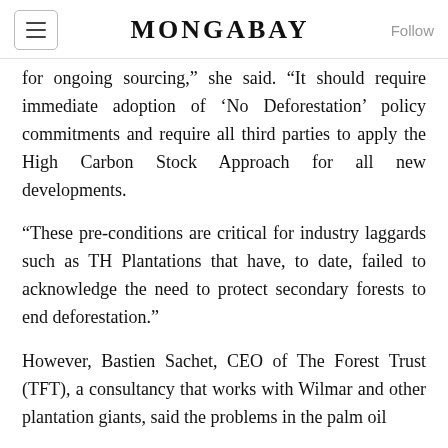MONGABAY
for ongoing sourcing,” she said. “It should require immediate adoption of ‘No Deforestation’ policy commitments and require all third parties to apply the High Carbon Stock Approach for all new developments.
“These pre-conditions are critical for industry laggards such as TH Plantations that have, to date, failed to acknowledge the need to protect secondary forests to end deforestation.”
However, Bastien Sachet, CEO of The Forest Trust (TFT), a consultancy that works with Wilmar and other plantation giants, said the problems in the palm oil